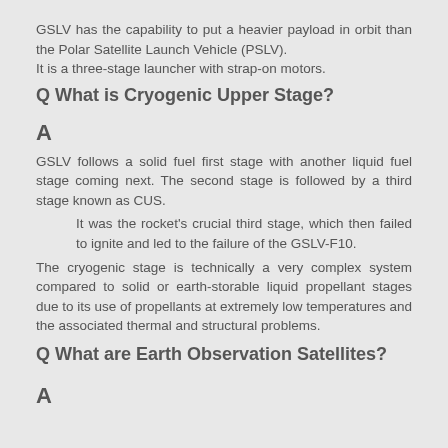GSLV has the capability to put a heavier payload in orbit than the Polar Satellite Launch Vehicle (PSLV).
It is a three-stage launcher with strap-on motors.
Q What is Cryogenic Upper Stage?
A
GSLV follows a solid fuel first stage with another liquid fuel stage coming next. The second stage is followed by a third stage known as CUS.
It was the rocket's crucial third stage, which then failed to ignite and led to the failure of the GSLV-F10.
The cryogenic stage is technically a very complex system compared to solid or earth-storable liquid propellant stages due to its use of propellants at extremely low temperatures and the associated thermal and structural problems.
Q What are Earth Observation Satellites?
A